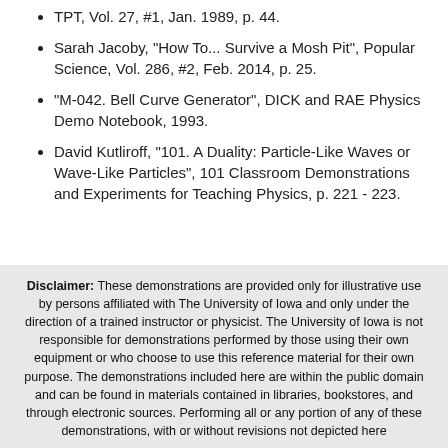TPT, Vol. 27, #1, Jan. 1989, p. 44.
Sarah Jacoby, "How To... Survive a Mosh Pit", Popular Science, Vol. 286, #2, Feb. 2014, p. 25.
"M-042. Bell Curve Generator", DICK and RAE Physics Demo Notebook, 1993.
David Kutliroff, "101. A Duality: Particle-Like Waves or Wave-Like Particles", 101 Classroom Demonstrations and Experiments for Teaching Physics, p. 221 - 223.
Disclaimer: These demonstrations are provided only for illustrative use by persons affiliated with The University of Iowa and only under the direction of a trained instructor or physicist. The University of Iowa is not responsible for demonstrations performed by those using their own equipment or who choose to use this reference material for their own purpose. The demonstrations included here are within the public domain and can be found in materials contained in libraries, bookstores, and through electronic sources. Performing all or any portion of any of these demonstrations, with or without revisions not depicted here